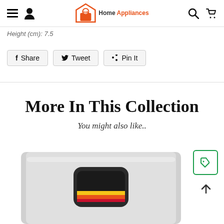Home Appliances – site navigation header with hamburger menu, user icon, logo, search and cart icons
Height (cm): 7.5
f Share   🐦 Tweet   ♟ Pin It
More In This Collection
You might also like..
[Figure (photo): Product image of a home appliance (appears to be a battery pack or small device) shown partially cropped at bottom of page]